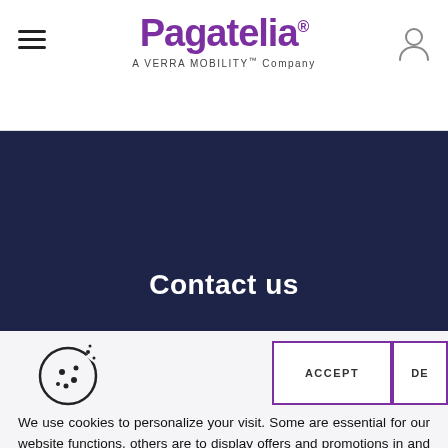[Figure (logo): Pagatelia logo — purple text with registered trademark symbol, subtitle 'A VERRA MOBILITY™ Company']
Contact us
Customer Care
[Figure (illustration): Cookie icon — circular cookie with bite taken out and dots]
ACCEPT
DE
We use cookies to personalize your visit. Some are essential for our website functions, others are to display offers and promotions in and outside the web. You are in control of cookies and can manage them at any time. More information.